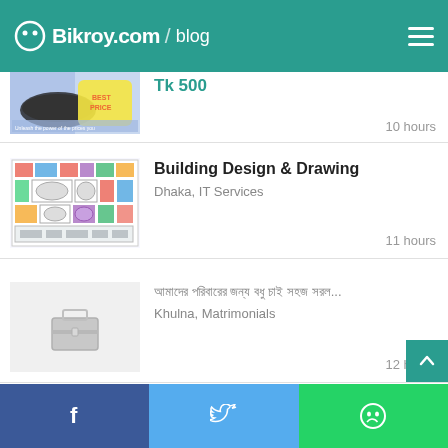Bikroy.com / blog
Tk 500
10 hours
Building Design & Drawing
Dhaka, IT Services
11 hours
আমাদের পরিবারের জন্য বধু চাই সহজ সরল...
Khulna, Matrimonials
12 hours